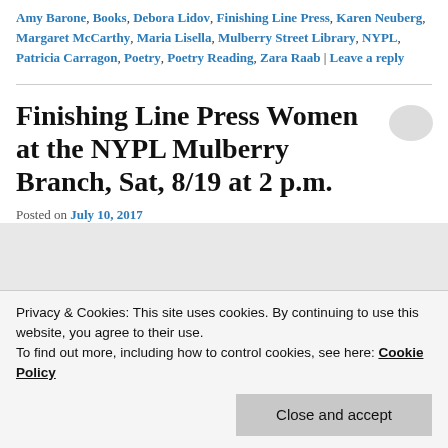Amy Barone, Books, Debora Lidov, Finishing Line Press, Karen Neuberg, Margaret McCarthy, Maria Lisella, Mulberry Street Library, NYPL, Patricia Carragon, Poetry, Poetry Reading, Zara Raab | Leave a reply
Finishing Line Press Women at the NYPL Mulberry Branch, Sat, 8/19 at 2 p.m.
Posted on July 10, 2017
Privacy & Cookies: This site uses cookies. By continuing to use this website, you agree to their use. To find out more, including how to control cookies, see here: Cookie Policy